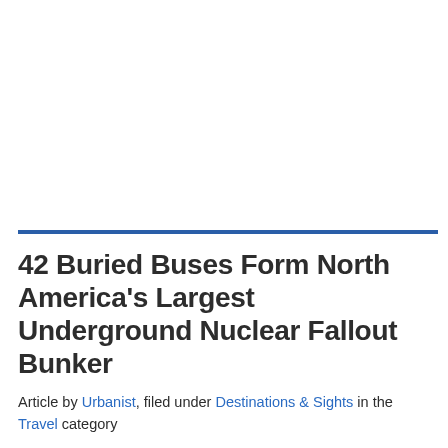42 Buried Buses Form North America's Largest Underground Nuclear Fallout Bunker
Article by Urbanist, filed under Destinations & Sights in the Travel category